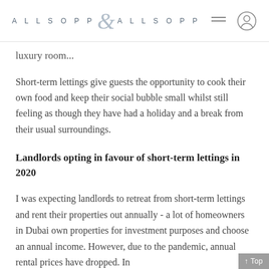ALLSOPP & ALLSOPP
luxury room...
Short-term lettings give guests the opportunity to cook their own food and keep their social bubble small whilst still feeling as though they have had a holiday and a break from their usual surroundings.
Landlords opting in favour of short-term lettings in 2020
I was expecting landlords to retreat from short-term lettings and rent their properties out annually - a lot of homeowners in Dubai own properties for investment purposes and choose an annual income. However, due to the pandemic, annual rental prices have dropped. In